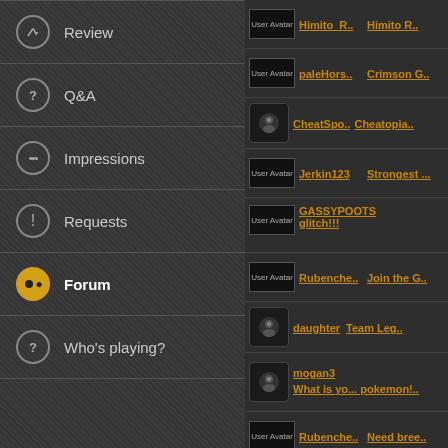Review
Q&A
Impressions
Requests
Forum
Who's playing?
| Avatar | User | Topic |
| --- | --- | --- |
| User Avatar | Himito_R.. | Himito R.. |
| User Avatar | paleHors.. | Crimson G.. |
| [avatar] | CheatSpo.. | Cheatopia.. |
| User Avatar | Jerkin123 | Strongest ... |
| User Avatar | GASSYPOOTS | glitch!!! |
| User Avatar | Rubenche.. | Join the G... |
| [avatar] | daughter | Team Leg... |
| [avatar] | mogan3 | What is yo... pokemon!... |
| User Avatar | Rubenche.. | Need bree... |
| User Avatar | Rubenche.. | Strongest ... |